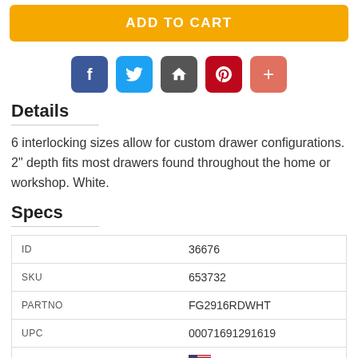ADD TO CART
[Figure (other): Social sharing buttons: Facebook, Twitter, Home/Share, Pinterest, Plus]
Details
6 interlocking sizes allow for custom drawer configurations. 2" depth fits most drawers found throughout the home or workshop. White.
Specs
| Field | Value |
| --- | --- |
| ID | 36676 |
| SKU | 653732 |
| PARTNO | FG2916RDWHT |
| UPC | 00071691291619 |
| COUNTRY OF ORIGIN | USA |
| WIDTH | 6 In. |